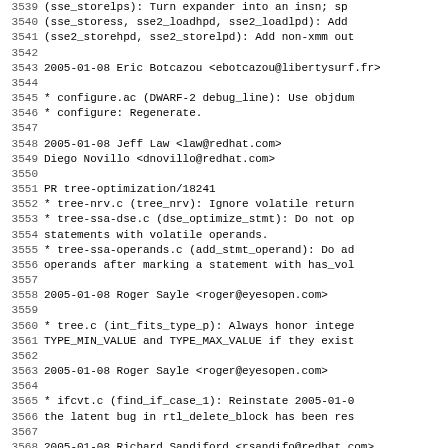3539    (sse_storelps): Turn expander into an insn; sp
3540    (sse_storess, sse2_loadhpd, sse2_loadlpd): Add
3541    (sse2_storehpd, sse2_storelpd): Add non-xmm out
3542
3543 2005-01-08  Eric Botcazou  <ebotcazou@libertysurf.fr>
3544
3545    * configure.ac (DWARF-2 debug_line): Use objdum
3546    * configure: Regenerate.
3547
3548 2005-01-08  Jeff Law  <law@redhat.com>
3549       Diego Novillo  <dnovillo@redhat.com>
3550
3551    PR tree-optimization/18241
3552    * tree-nrv.c (tree_nrv): Ignore volatile return
3553    * tree-ssa-dse.c (dse_optimize_stmt): Do not op
3554    statements with volatile operands.
3555    * tree-ssa-operands.c (add_stmt_operand): Do ad
3556    operands after marking a statement with has_vol
3557
3558 2005-01-08  Roger Sayle  <roger@eyesopen.com>
3559
3560    * tree.c (int_fits_type_p): Always honor intege
3561    TYPE_MIN_VALUE and TYPE_MAX_VALUE if they exist
3562
3563 2005-01-08  Roger Sayle  <roger@eyesopen.com>
3564
3565    * ifcvt.c (find_if_case_1): Reinstate 2005-01-0
3566    the latent bug in rtl_delete_block has been res
3567
3568 2005-01-08  Richard Sandiford  <rsandifo@redhat.com>
3569
3570    * config/mips/t-iris6 (MULTILIB_DIRNAMES): Use